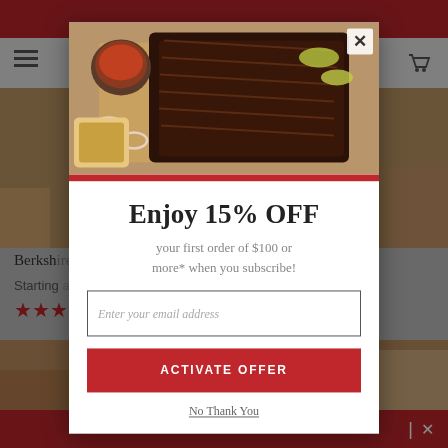[Figure (screenshot): Background of a food e-commerce website with red top and bottom bars, navigation, product images of BBQ meat, Berkshire product listing with stars rating, and bottom toolbar.]
[Figure (photo): Modal popup image showing sliced BBQ brisket on a cutting board with sauce bowl, onions, and pickled peppers.]
Enjoy 15% OFF
your first order of $100 or more* when you subscribe!
Enter your email address
ACTIVATE OFFER
No Thank You